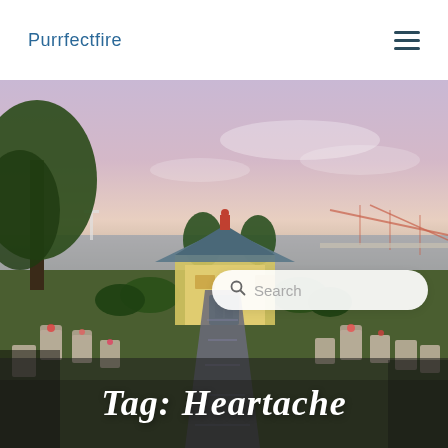Purrfectfire
[Figure (photo): A scenic cemetery with colorful flower-adorned gravestones leading to a small yellow chapel with a red-tiled pagoda-style roof, surrounded by trees. In the background, a large suspension bridge (resembling the 25 de Abril Bridge in Lisbon) spans a river under a soft pink and purple sunset sky.]
Tag: Heartache